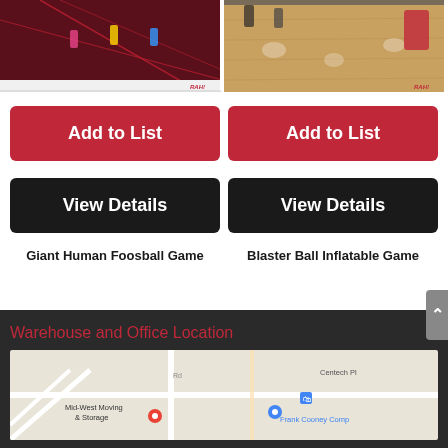[Figure (photo): Photo of Giant Human Foosball Game, red lit indoor environment with players in colored vests on a large foosball-style field]
[Figure (photo): Photo of Blaster Ball Inflatable Game, basketball court with players on hardwood floor]
Add to List
Add to List
View Details
View Details
Giant Human Foosball Game
Blaster Ball Inflatable Game
Warehouse and Office Location
[Figure (map): Google Maps screenshot showing Mid-West Moving & Storage, Frank Cooney Company, Centech Plaza area with road map]